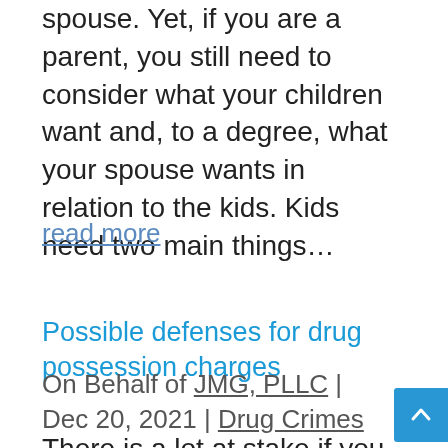spouse. Yet, if you are a parent, you still need to consider what your children want and, to a degree, what your spouse wants in relation to the kids. Kids need two main things…
read more
Possible defenses for drug possession charges
On Behalf of JMG, PLLC | Dec 20, 2021 | Drug Crimes
There is a lot at stake if you are facing any kind of drug charges. Besides the possibility of time in jail, a conviction may mean a criminal record which is likely to affect your life in several ways. Therefore, it is in your best interests to go against the charges